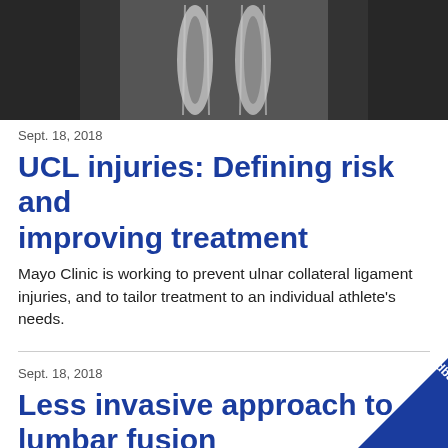[Figure (photo): Black and white X-ray image showing bones/ligament area of a joint, likely elbow or hand]
Sept. 18, 2018
UCL injuries: Defining risk and improving treatment
Mayo Clinic is working to prevent ulnar collateral ligament injuries, and to tailor treatment to an individual athlete's needs.
Sept. 18, 2018
Less invasive approach to lumbar fusion